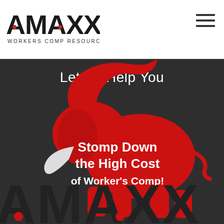[Figure (logo): AMAXX Workers Comp Resource Center logo - bold black letters AMAXX with red dot accents, tagline WORKERS COMP RESOURCE CENTER below]
[Figure (illustration): Red elephant silhouette on dark gray background with text 'Let Us Help You' above and 'Stomp Down the High Cost of Worker's Comp!' overlaid on the elephant, with large AMAXX text in dark tones at the bottom]
Let Us Help You
Stomp Down the High Cost of Worker's Comp!